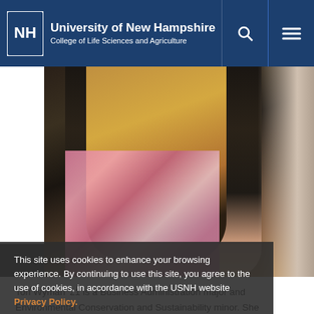University of New Hampshire College of Life Sciences and Agriculture
[Figure (photo): Photo of a young woman (Tori Wyman) standing on stairs, wearing a dark top and floral patterned skirt, with railing visible in background]
This site uses cookies to enhance your browsing experience. By continuing to use this site, you agree to the use of cookies, in accordance with the USNH website Privacy Policy.
OK ✓
Tori Wyman '21 is a Business Administration major and Environmental Conservation and Sustainability minor. She